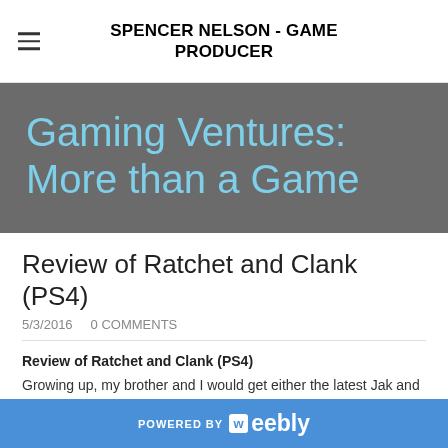SPENCER NELSON - GAME PRODUCER
Gaming Ventures: More than a Game
Review of Ratchet and Clank (PS4)
5/3/2016   0 COMMENTS
Review of Ratchet and Clank (PS4)
Growing up, my brother and I would get either the latest Jak and Daxter game or - you guessed it - Ratchet and Clank. I can't even begin to express how much fun we had with these games. I've
POWERED BY weebly